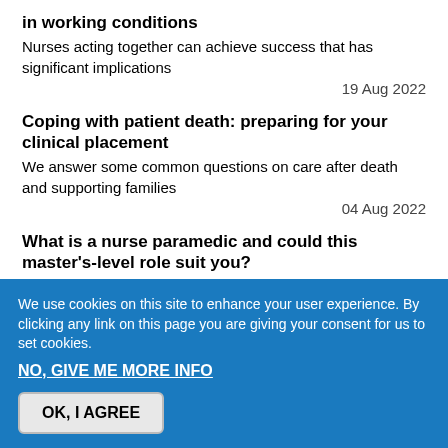in working conditions
Nurses acting together can achieve success that has significant implications
19 Aug 2022
Coping with patient death: preparing for your clinical placement
We answer some common questions on care after death and supporting families
04 Aug 2022
What is a nurse paramedic and could this master's-level role suit you?
A new course integrates the two professions, allowing
We use cookies on this site to enhance your user experience. By clicking any link on this page you are giving your consent for us to set cookies.
NO, GIVE ME MORE INFO
OK, I AGREE